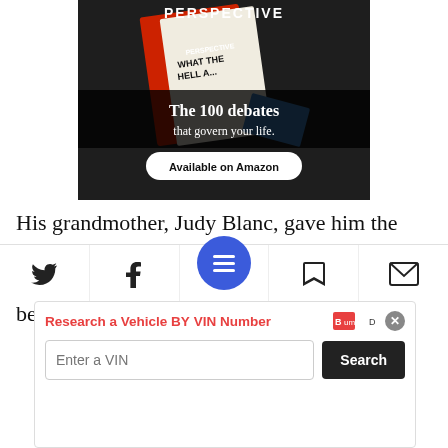[Figure (illustration): Book advertisement banner for 'Perspective' book titled 'What The Hell...' by Daniel Ravner. Dark background with book image. Text reads 'The 100 debates that govern your life.' with an 'Available on Amazon' button.]
His grandmother, Judy Blanc, gave him the collected works of Berthold Brecht, in English, as a present. And just for the fun of it, and because he loved the Harry Potter books as a
[Figure (screenshot): Bottom navigation bar with Twitter, Facebook, hamburger menu (blue circle), bookmark, and email icons.]
[Figure (screenshot): Advertisement: 'Research a Vehicle BY VIN Number' with BumpD logo, VIN input field and Search button.]